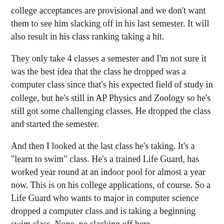college acceptances are provisional and we don’t want them to see him slacking off in his last semester. It will also result in his class ranking taking a hit.
They only take 4 classes a semester and I’m not sure it was the best idea that the class he dropped was a computer class since that’s his expected field of study in college, but he’s still in AP Physics and Zoology so he’s still got some challenging classes. He dropped the class and started the semester.
And then I looked at the last class he’s taking. It’s a “learn to swim” class. He’s a trained Life Guard, has worked year round at an indoor pool for almost a year now. This is on his college applications, of course. So a Life Guard who wants to major in computer science dropped a computer class and is taking a beginning swim class. Nope, no slacking off here.